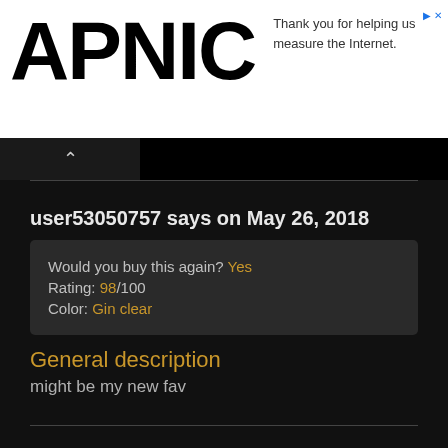APNIC — Thank you for helping us measure the Internet.
user53050757 says on May 26, 2018
Would you buy this again? Yes
Rating: 98/100
Color: Gin clear
General description
might be my new fav
user48001921 says on March 21, 2018
Would you buy this again? Yes